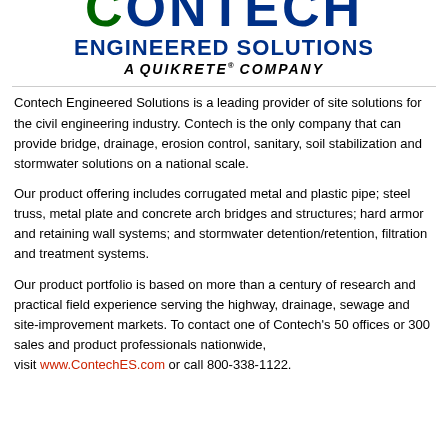[Figure (logo): Contech Engineered Solutions - A Quikrete Company logo. The word CONTECH appears partially cut off at the top in dark blue with a green C, followed by ENGINEERED SOLUTIONS in dark blue bold, and 'A QUIKRETE® COMPANY' in italic bold black text below.]
Contech Engineered Solutions is a leading provider of site solutions for the civil engineering industry. Contech is the only company that can provide bridge, drainage, erosion control, sanitary, soil stabilization and stormwater solutions on a national scale.
Our product offering includes corrugated metal and plastic pipe; steel truss, metal plate and concrete arch bridges and structures; hard armor and retaining wall systems; and stormwater detention/retention, filtration and treatment systems.
Our product portfolio is based on more than a century of research and practical field experience serving the highway, drainage, sewage and site-improvement markets. To contact one of Contech's 50 offices or 300 sales and product professionals nationwide, visit www.ContechES.com or call 800-338-1122.